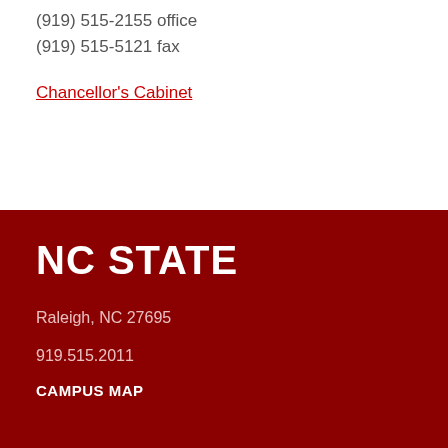(919) 515-2155 office
(919) 515-5121 fax
Chancellor's Cabinet
NC STATE
Raleigh, NC 27695
919.515.2011
CAMPUS MAP